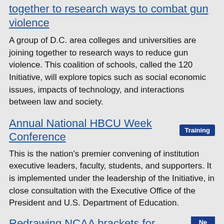together to research ways to combat gun violence
A group of D.C. area colleges and universities are joining together to research ways to reduce gun violence. This coalition of schools, called the 120 Initiative, will explore topics such as social economic issues, impacts of technology, and interactions between law and society.
Annual National HBCU Week Conference [Training]
This is the nation's premier convening of institution executive leaders, faculty, students, and supporters. It is implemented under the leadership of the Initiative, in close consultation with the Executive Office of the President and U.S. Department of Education.
Redrawing NCAA brackets for income mobility: If March Madness were about moving students up the economic ladder, research says we'd all be celebrating